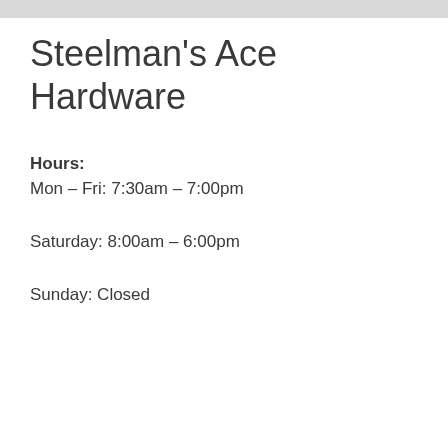Steelman's Ace Hardware
Hours:
Mon – Fri: 7:30am – 7:00pm
Saturday: 8:00am – 6:00pm
Sunday: Closed